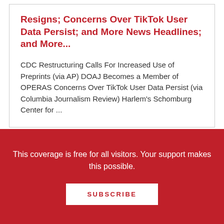Resigns; Concerns Over TikTok User Data Persist; and More News Headlines; and More...
CDC Restructuring Calls For Increased Use of Preprints (via AP) DOAJ Becomes a Member of OPERAS Concerns Over TikTok User Data Persist (via Columbia Journalism Review) Harlem's Schomburg Center for ...
IMLS: $5.2 Million Awarded to Strengthen Library Services for Tribal Communities, Native Hawaiians
This coverage is free for all visitors. Your support makes this possible.
SUBSCRIBE